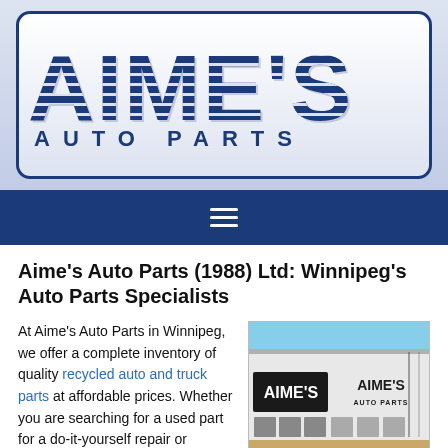[Figure (logo): Aime's Auto Parts logo — large bold blue text 'AIME'S' with horizontal stripe pattern over letters, and 'AUTO PARTS' in spaced capitals below, all inside a rounded rectangle border on a light blue-grey background]
[Figure (other): Navigation bar with hamburger menu icon (three white horizontal lines) on dark blue background]
Aime's Auto Parts (1988) Ltd: Winnipeg's Auto Parts Specialists
At Aime's Auto Parts in Winnipeg, we offer a complete inventory of quality recycled auto and truck parts at affordable prices. Whether you are searching for a used part for a do-it-yourself repair or seeking out a hard-to-find part for
[Figure (photo): Exterior photo of Aime's Auto Parts building — a large white industrial building with 'AIME'S' and 'AIME'S AUTO PARTS' signage on the facade, under a blue sky]